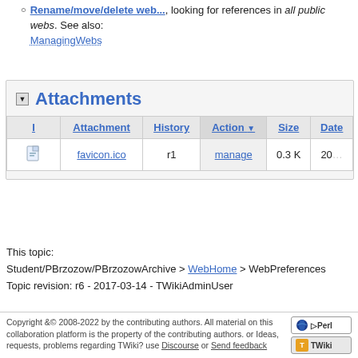Rename/move/delete web..., looking for references in all public webs. See also: ManagingWebs
Attachments
| I | Attachment | History | Action | Size | Date |
| --- | --- | --- | --- | --- | --- |
| [icon] | favicon.ico | r1 | manage | 0.3 K | 20... |
This topic:
Student/PBrzozow/PBrzozowArchive > WebHome > WebPreferences
Topic revision: r6 - 2017-03-14 - TWikiAdminUser
Copyright &© 2008-2022 by the contributing authors. All material on this collaboration platform is the property of the contributing authors. or Ideas, requests, problems regarding TWiki? use Discourse or Send feedback